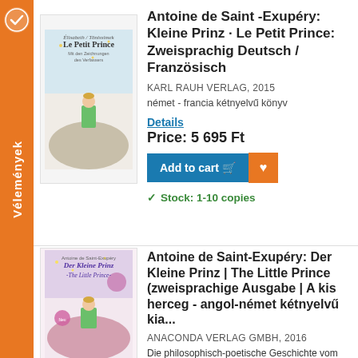[Figure (other): Orange vertical sidebar with 'Vélemények' text rotated and a badge icon at top]
[Figure (illustration): Book cover of Le Petit Prince by Antoine de Saint-Exupéry, showing the little prince standing on a small planet]
Antoine de Saint -Exupéry: Kleine Prinz · Le Petit Prince: Zweisprachig Deutsch / Französisch
KARL RAUH VERLAG, 2015
német - francia kétnyelvű könyv
Details
Price: 5 695 Ft
Add to cart
Stock: 1-10 copies
[Figure (illustration): Book cover of Der Kleine Prinz / The Little Prince, bilingual German-English edition]
Antoine de Saint-Exupéry: Der Kleine Prinz | The Little Prince (zweisprachige Ausgabe | A kis herceg - angol-német kétnyelvű kia...
ANACONDA VERLAG GMBH, 2016
Die philosophisch-poetische Geschichte vom kleinen Prinzen, der auf der Suche nach Freunden allerlei seltsame Planeten bereist, übt